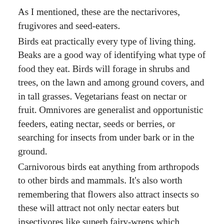As I mentioned, these are the nectarivores, frugivores and seed-eaters.
Birds eat practically every type of living thing. Beaks are a good way of identifying what type of food they eat. Birds will forage in shrubs and trees, on the lawn and among ground covers, and in tall grasses. Vegetarians feast on nectar or fruit. Omnivores are generalist and opportunistic feeders, eating nectar, seeds or berries, or searching for insects from under bark or in the ground.
Carnivorous birds eat anything from arthropods to other birds and mammals. It's also worth remembering that flowers also attract insects so these will attract not only nectar eaters but insectivores like superb fairy-wrens which require a supply of small insects.
When it comes to nectar and pollen eaters, some nectivores like the smallest member of the honeyeater family, the eastern spinebill, have long, slender, curved beaks that can reach into the base of long, tubular flowers. This enables them to find nectar that many species can't get to. These spinebill-attracting plants